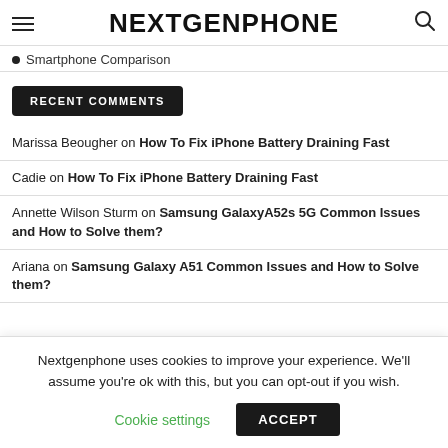NEXTGENPHONE
Smartphone Comparison
RECENT COMMENTS
Marissa Beougher on How To Fix iPhone Battery Draining Fast
Cadie on How To Fix iPhone Battery Draining Fast
Annette Wilson Sturm on Samsung GalaxyA52s 5G Common Issues and How to Solve them?
Ariana on Samsung Galaxy A51 Common Issues and How to Solve them?
Nextgenphone uses cookies to improve your experience. We'll assume you're ok with this, but you can opt-out if you wish.